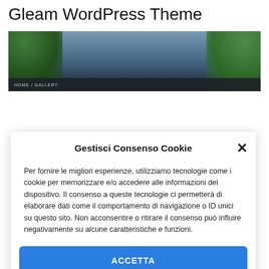Gleam WordPress Theme
[Figure (screenshot): Screenshot of the Gleam WordPress Theme website showing a dark navigation bar and a header image with trees and sky]
Gestisci Consenso Cookie
Per fornire le migliori esperienze, utilizziamo tecnologie come i cookie per memorizzare e/o accedere alle informazioni del dispositivo. Il consenso a queste tecnologie ci permetterà di elaborare dati come il comportamento di navigazione o ID unici su questo sito. Non acconsentire o ritirare il consenso può influire negativamente su alcune caratteristiche e funzioni.
ACCETTA
NEGA
VISUALIZZA LE PREFERENZE